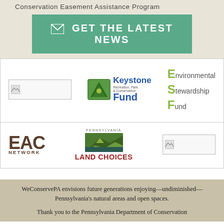Conservation Easement Assistance Program
[Figure (infographic): Green button with envelope icon: GET THE LATEST NEWS]
[Figure (logo): Placeholder logo (left), Keystone Recreation, Park & Conservation Fund logo (center), Environmental Stewardship Fund logo (right)]
[Figure (logo): EAC Network logo (left), Pennsylvania Land Choices logo (center), placeholder logo (right)]
WeConservePA envisions future generations enjoying—undiminished—Pennsylvania's natural areas and open spaces.
Thank you to the Pennsylvania Department of Conservation